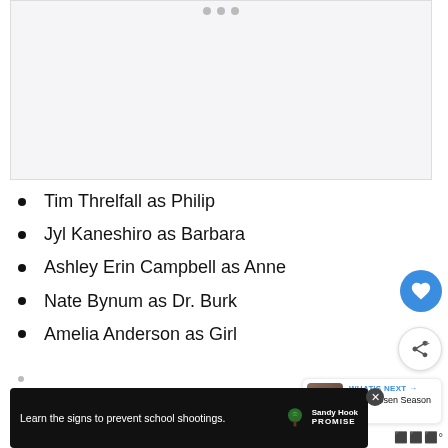[Figure (other): Carousel image placeholder with navigation dots at top; light gray background]
Tim Threlfall as Philip
Jyl Kaneshiro as Barbara
Ashley Erin Campbell as Anne
Nate Bynum as Dr. Burk
Amelia Anderson as Girl
[Figure (screenshot): Advertisement banner: Learn the signs to prevent school shootings. Sandy Hook Promise logo with green tree.]